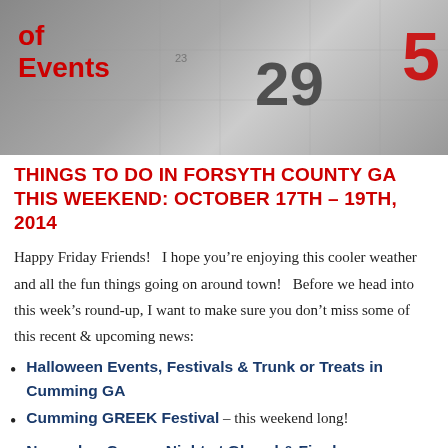[Figure (photo): Calendar photo showing dates 23, 29, and a red 5, with text 'of Events' overlaid in red on the left side]
THINGS TO DO IN FORSYTH COUNTY GA THIS WEEKEND: OCTOBER 17TH – 19TH, 2014
Happy Friday Friends!   I hope you're enjoying this cooler weather and all the fun things going on around town!   Before we head into this week's round-up, I want to make sure you don't miss some of this recent & upcoming news:
Halloween Events, Festivals & Trunk or Treats in Cumming GA
Cumming GREEK Festival – this weekend long!
November Canvas Night at Glazed & Fired